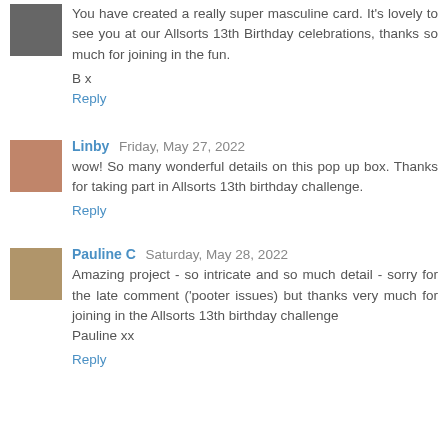You have created a really super masculine card. It's lovely to see you at our Allsorts 13th Birthday celebrations, thanks so much for joining in the fun.
B x
Reply
Linby  Friday, May 27, 2022
wow! So many wonderful details on this pop up box. Thanks for taking part in Allsorts 13th birthday challenge.
Reply
Pauline C  Saturday, May 28, 2022
Amazing project - so intricate and so much detail - sorry for the late comment ('pooter issues) but thanks very much for joining in the Allsorts 13th birthday challenge
Pauline xx
Reply